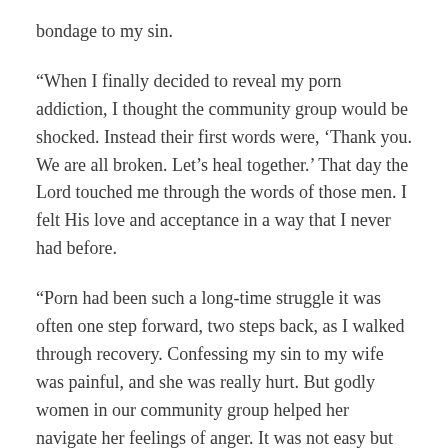bondage to my sin.
“When I finally decided to reveal my porn addiction, I thought the community group would be shocked. Instead their first words were, ‘Thank you. We are all broken. Let’s heal together.’ That day the Lord touched me through the words of those men. I felt His love and acceptance in a way that I never had before.
“Porn had been such a long-time struggle it was often one step forward, two steps back, as I walked through recovery. Confessing my sin to my wife was painful, and she was really hurt. But godly women in our community group helped her navigate her feelings of anger. It was not easy but we got through it.